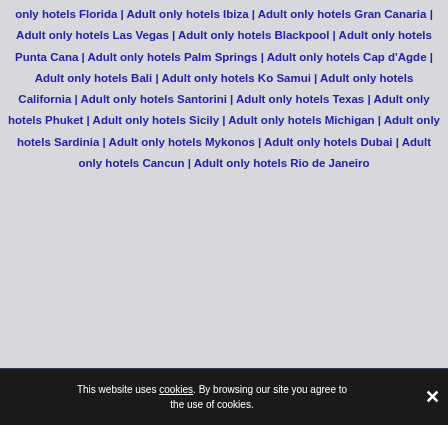only hotels Florida | Adult only hotels Ibiza | Adult only hotels Gran Canaria | Adult only hotels Las Vegas | Adult only hotels Blackpool | Adult only hotels Punta Cana | Adult only hotels Palm Springs | Adult only hotels Cap d'Agde | Adult only hotels Bali | Adult only hotels Ko Samui | Adult only hotels California | Adult only hotels Santorini | Adult only hotels Texas | Adult only hotels Phuket | Adult only hotels Sicily | Adult only hotels Michigan | Adult only hotels Sardinia | Adult only hotels Mykonos | Adult only hotels Dubai | Adult only hotels Cancun | Adult only hotels Rio de Janeiro
travelm Categories 1
This website uses cookies. By browsing our site you agree to the use of cookies.